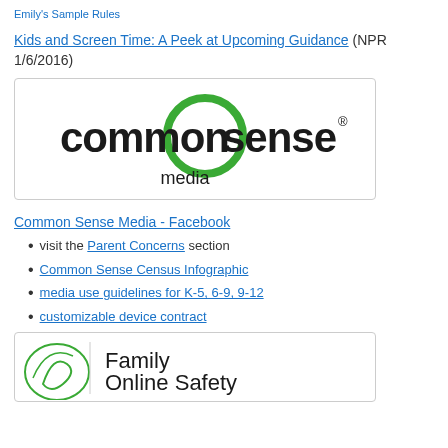Emily's Sample Rules
Kids and Screen Time: A Peek at Upcoming Guidance (NPR 1/6/2016)
[Figure (logo): Common Sense Media logo — green circle with 'common sense' in black lowercase text and 'media' below]
Common Sense Media - Facebook
visit the Parent Concerns section
Common Sense Census Infographic
media use guidelines for K-5, 6-9, 9-12
customizable device contract
[Figure (logo): Family Online Safety Institute logo — green swirl icon on left, 'Family Online Safety' text on right]